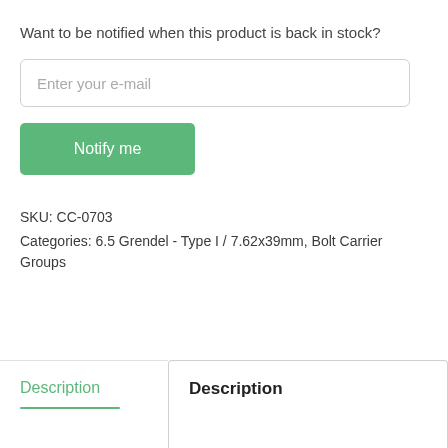Want to be notified when this product is back in stock?
Enter your e-mail
Notify me
SKU: CC-0703
Categories: 6.5 Grendel - Type I / 7.62x39mm, Bolt Carrier Groups
Description
Description